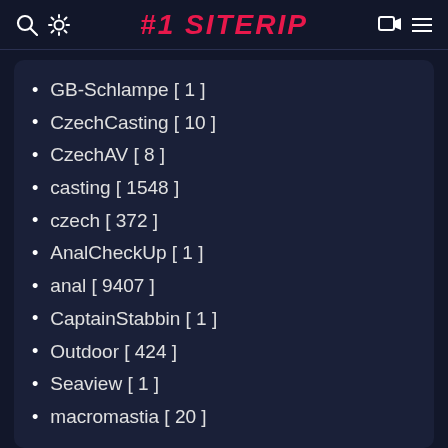#1 SITERIP
GB-Schlampe [ 1 ]
CzechCasting [ 10 ]
CzechAV [ 8 ]
casting [ 1548 ]
czech [ 372 ]
AnalCheckUp [ 1 ]
anal [ 9407 ]
CaptainStabbin [ 1 ]
Outdoor [ 424 ]
Seaview [ 1 ]
macromastia [ 20 ]
Models